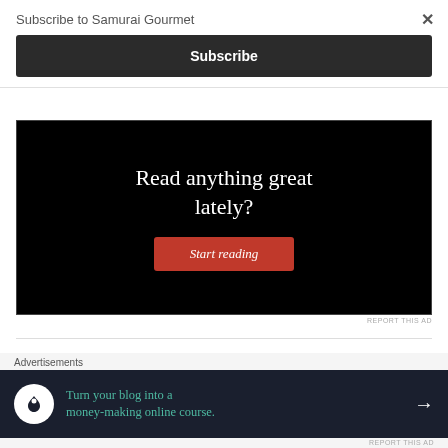Subscribe to Samurai Gourmet
×
Subscribe
[Figure (screenshot): Black advertisement banner with white serif text reading 'Read anything great lately?' and a red button labeled 'Start reading']
REPORT THIS AD
TOP POSTS
Advertisements
[Figure (screenshot): Dark navy advertisement banner with a white circular icon showing a person/tree logo, teal text reading 'Turn your blog into a money-making online course.' and a white right arrow]
REPORT THIS AD